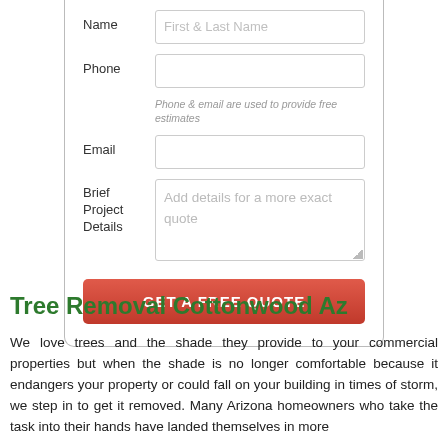[Figure (screenshot): Web form with fields for Name, Phone, Email, Brief Project Details, and a red 'GET A FREE QUOTE' button]
Tree Removal Cottonwood Az
We love trees and the shade they provide to your commercial properties but when the shade is no longer comfortable because it endangers your property or could fall on your building in times of storm, we step in to get it removed. Many Arizona homeowners who take the task into their hands have landed themselves in more